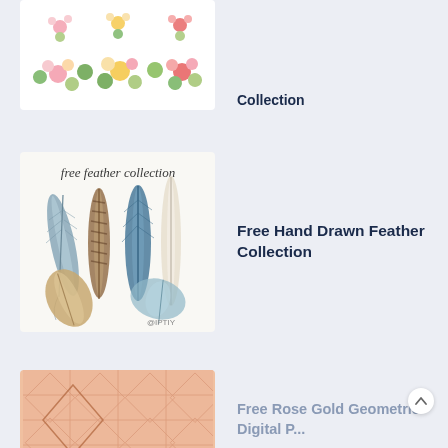[Figure (illustration): Partial view of a floral wreath/clipart collection image with colorful flowers and green leaves on white background]
[Figure (illustration): Free Hand Drawn Feather Collection image showing multiple watercolor feathers (blue, brown, white, tan) with text 'free feather collection' and @IPTIY watermark on white background]
Free Hand Drawn Feather Collection
[Figure (illustration): Partial view of Free Rose Gold Geometric Digital Paper with peach/rose gold geometric pattern]
Free Rose Gold Geometric Digital Paper